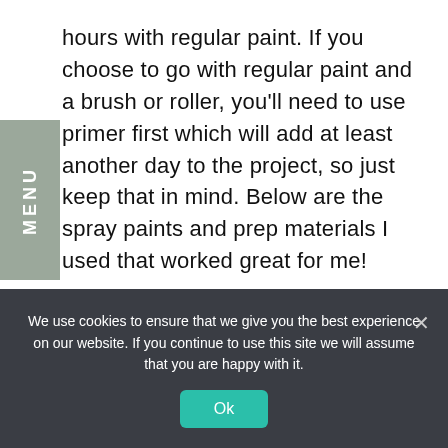hours with regular paint. If you choose to go with regular paint and a brush or roller, you'll need to use primer first which will add at least another day to the project, so just keep that in mind. Below are the spray paints and prep materials I used that worked great for me!
We use cookies to ensure that we give you the best experience on our website. If you continue to use this site we will assume that you are happy with it.